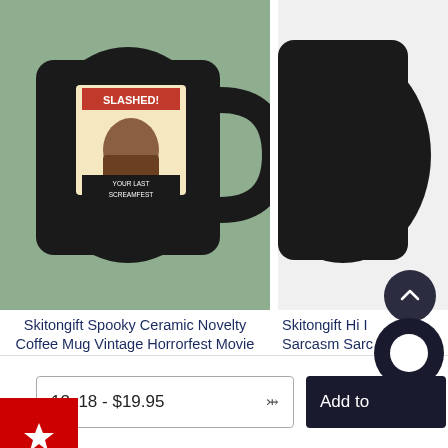[Figure (photo): Black ceramic coffee mug with vintage horror/Halloween movie poster graphic (SLASHED! YOUR LAST SCREAMFEST) on a sage green background]
[Figure (photo): Partial view of a second black ceramic mug on white/light background, right edge cropped]
Skitongift Spooky Ceramic Novelty Coffee Mug Vintage Horrorfest Movie Poste Halloween Mug
$15.00
Skitongift Hi I Sarcasm Sarc Funn
[Figure (other): Red square button with white star icon — wishlist/favorite button]
— — —
12x18 - $19.95
Add to